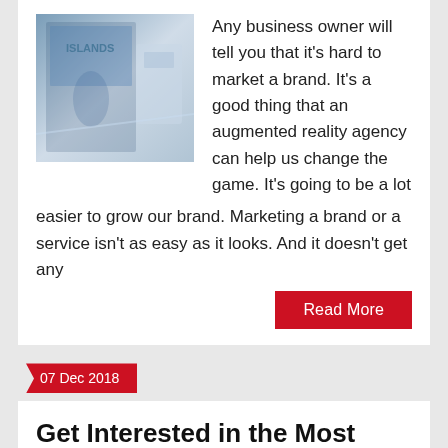Any business owner will tell you that it's hard to market a brand. It's a good thing that an augmented reality agency can help us change the game. It's going to be a lot easier to grow our brand. Marketing a brand or a service isn't as easy as it looks. And it doesn't get any
Read More
07 Dec 2018
Get Interested in the Most Inspiring and Greatest News in Australia
By Eliza Eliza
Australia, Business, Digital Marketing, Information Technology, IT, SEO, Tips
0 Comment
Australia is indeed a huge country. This is